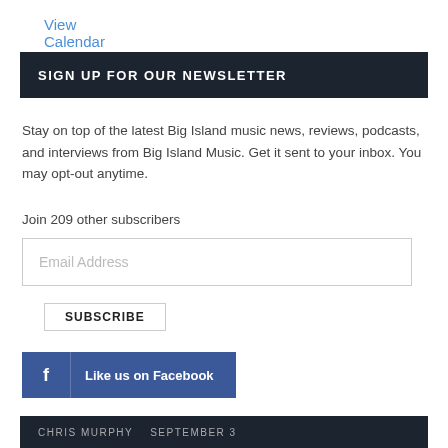View Calendar
SIGN UP FOR OUR NEWSLETTER
Stay on top of the latest Big Island music news, reviews, podcasts, and interviews from Big Island Music. Get it sent to your inbox. You may opt-out anytime.
Join 209 other subscribers
Email Address
SUBSCRIBE
Like us on Facebook
CHRIS MURPHY   SEPTEMBER 3